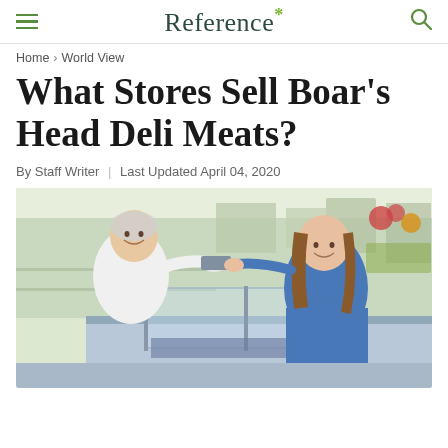Reference*
Home › World View
What Stores Sell Boar's Head Deli Meats?
By Staff Writer | Last Updated April 04, 2020
[Figure (photo): A deli worker in white uniform and hair net hands food over the counter to a smiling female customer in a blue dress inside a grocery store deli section]